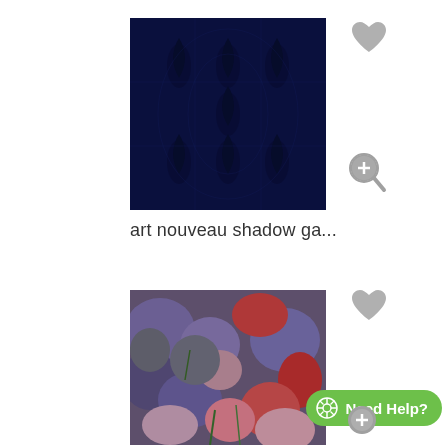[Figure (photo): Dark navy blue art nouveau pattern with ornate floral/botanical symmetrical design]
art nouveau shadow ga...
[Figure (photo): Colorful floral textile/fabric pattern with purple, red, pink and gray flower clusters]
Need Help?